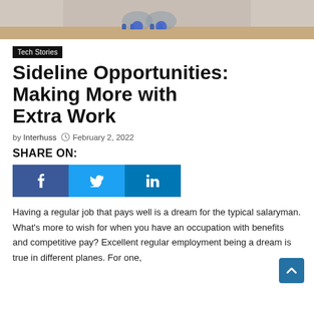[Figure (photo): Person sitting cross-legged on floor, partial view showing legs and sneakers on light wood floor]
Tech Stories
Sideline Opportunities: Making More with Extra Work
by Interhuss  February 2, 2022
SHARE ON:
[Figure (infographic): Three social media share buttons: Facebook (dark blue), Twitter (light blue), LinkedIn (blue) with icons f, bird, in]
Having a regular job that pays well is a dream for the typical salaryman. What's more to wish for when you have an occupation with benefits and competitive pay? Excellent regular employment being a dream is true in different planes. For one,